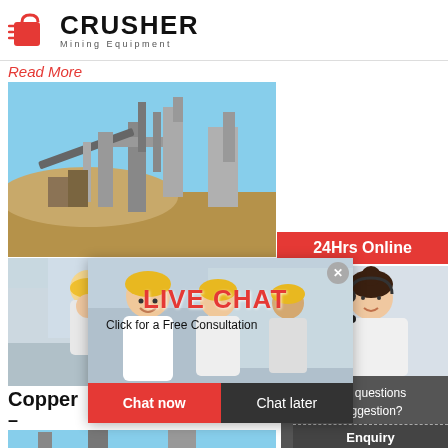[Figure (logo): Crusher Mining Equipment logo with red shopping bag icon and bold CRUSHER text]
Read More
[Figure (photo): Mining equipment / ore processing plant with industrial structures and open pit]
[Figure (photo): Workers in yellow hard hats at industrial site - live chat overlay]
Copper
–
Copper Ore crushing equipment. We supply this equipment is designed to achieve maximum productivity and high reduction ratio.
Read More
[Figure (photo): Industrial plant / cement or mineral processing facility with tall silos and pipes]
[Figure (infographic): Live Chat popup overlay with workers image, LIVE CHAT heading, Click for a Free Consultation text, Chat now and Chat later buttons]
[Figure (photo): 24Hrs Online customer service representative with headset]
Need questions & suggestion?
Chat Now
Enquiry
limingjlmofen@sina.com